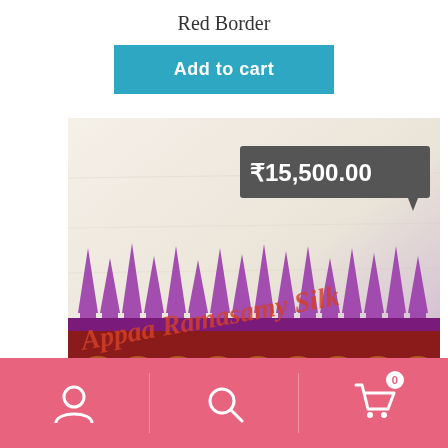Red Border
Add to cart
[Figure (photo): Folded white silk saree with purple temple border (ikat pattern) and red decorative border with gold motifs. Watermark text 'Appaa Ramasamy Silk' overlaid in red italic. Price badge showing ₹15,500.00 in gray tooltip.]
Navigation bar with user icon, search icon, and cart icon (0 items)